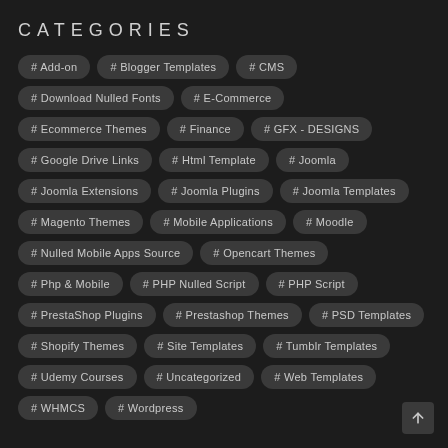CATEGORIES
# Add-on
# Blogger Templates
# CMS
# Download Nulled Fonts
# E-Commerce
# Ecommerce Themes
# Finance
# GFX - DESIGNS
# Google Drive Links
# Html Template
# Joomla
# Joomla Extensions
# Joomla Plugins
# Joomla Templates
# Magento Themes
# Mobile Applications
# Moodle
# Nulled Mobile Apps Source
# Opencart Themes
# Php & Mobile
# PHP Nulled Script
# PHP Script
# PrestaShop Plugins
# Prestashop Themes
# PSD Templates
# Shopify Themes
# Site Templates
# Tumblr Templates
# Udemy Courses
# Uncategorized
# Web Templates
# WHMCS
# Wordpress